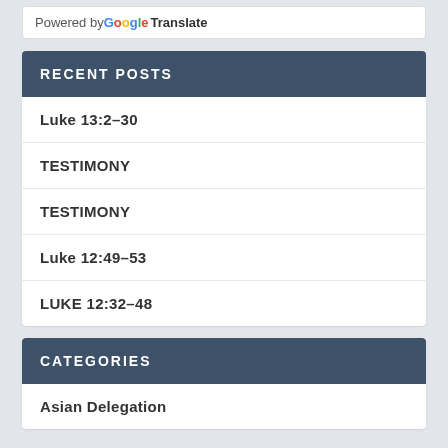Powered by Google Translate
RECENT POSTS
Luke 13:2–30
TESTIMONY
TESTIMONY
Luke 12:49–53
LUKE 12:32–48
CATEGORIES
Asian Delegation